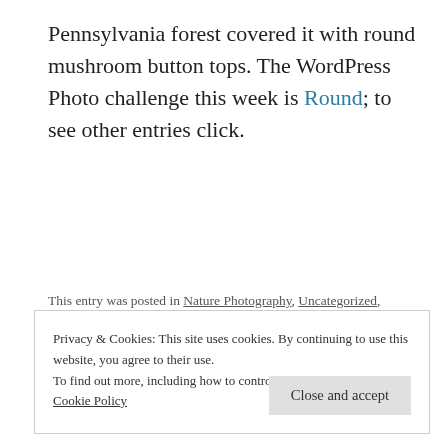Pennsylvania forest covered it with round mushroom button tops. The WordPress Photo challenge this week is Round; to see other entries click.
This entry was posted in Nature Photography, Uncategorized, Weekly Photo Challenge and tagged Fungus, Mushroom, Raccoon Creek State Park, Round, Weekly Photo Challenge, Western Pennsylvania, WPC on October 27, 2017.
Privacy & Cookies: This site uses cookies. By continuing to use this website, you agree to their use. To find out more, including how to control cookies, see here: Cookie Policy